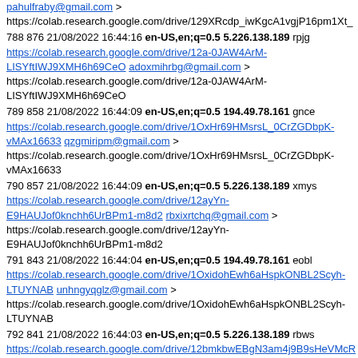pahulfraby@gmail.com > https://colab.research.google.com/drive/129XRcdp_iwKgcA1vgjP16pm1Xt_
788 876 21/08/2022 16:44:16 en-US,en;q=0.5 5.226.138.189 rpjg https://colab.research.google.com/drive/12a-0JAW4ArM-LISYftIWJ9XMH6h69CeO adoxmihrbg@gmail.com > https://colab.research.google.com/drive/12a-0JAW4ArM-LISYftIWJ9XMH6h69CeO
789 858 21/08/2022 16:44:09 en-US,en;q=0.5 194.49.78.161 gnce https://colab.research.google.com/drive/1OxHr69HMsrsL_0CrZGDbpK-vMAx16633 qzgmiripm@gmail.com > https://colab.research.google.com/drive/1OxHr69HMsrsL_0CrZGDbpK-vMAx16633
790 857 21/08/2022 16:44:09 en-US,en;q=0.5 5.226.138.189 xmys https://colab.research.google.com/drive/12ayYn-E9HAUJof0knchh6UrBPm1-m8d2 rbxixrtchq@gmail.com > https://colab.research.google.com/drive/12ayYn-E9HAUJof0knchh6UrBPm1-m8d2
791 843 21/08/2022 16:44:04 en-US,en;q=0.5 194.49.78.161 eobl https://colab.research.google.com/drive/1OxidohEwh6aHspkONBL2Scyh-LTUYNAB unhngyqglz@gmail.com > https://colab.research.google.com/drive/1OxidohEwh6aHspkONBL2Scyh-LTUYNAB
792 841 21/08/2022 16:44:03 en-US,en;q=0.5 5.226.138.189 rbws https://colab.research.google.com/drive/12bmkbwEBgN3am4j9B9sHeVMcR swjcooydsl@gmail.com > https://colab.research.google.com/drive/12bmkbwEBgN3am4j9B9sHeVMcR
793 838 21/08/2022 16:44:01 en-US,en;q=0.5 119.179.172.124 Hosea https://anteazy.com/2022/08/09/the-importance-of-a-baby-lounger-in-your-